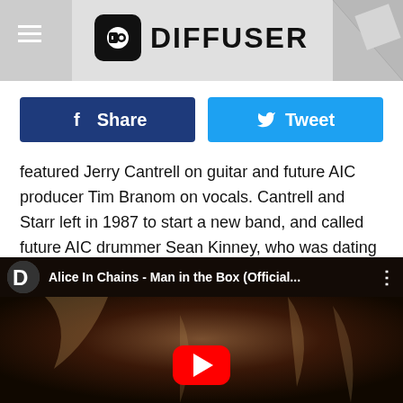DIFFUSER
featured Jerry Cantrell on guitar and future AIC producer Tim Branom on vocals. Cantrell and Starr left in 1987 to start a new band, and called future AIC drummer Sean Kinney, who was dating Starr's sister and had recently exchanged phone numbers with Cantrell's roommate, Staley. Eventually Staley was convinced to join on vocals, and a grunge game-changer was born.
[Figure (screenshot): YouTube video thumbnail for Alice In Chains - Man in the Box (Official...) with play button]